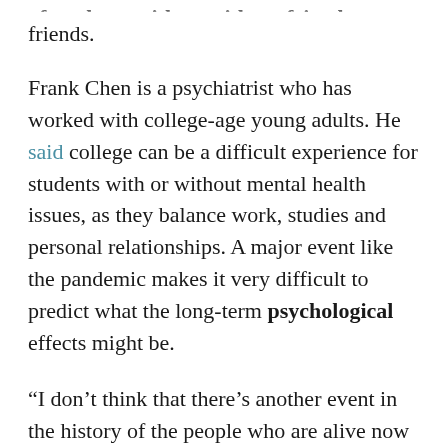friends.
Frank Chen is a psychiatrist who has worked with college-age young adults. He said college can be a difficult experience for students with or without mental health issues, as they balance work, studies and personal relationships. A major event like the pandemic makes it very difficult to predict what the long-term psychological effects might be.
“I don’t think that there’s another event in the history of the people who are alive now that can really measure up to this,” said Chen.
In the state of Virginia, fifth-grade teacher Aileen Watts said she and other teachers built in activities to help students reduce anxiety. Classes took “brain